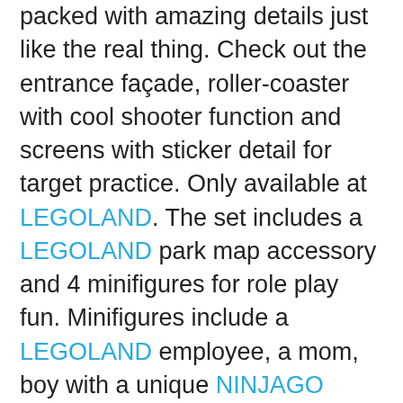packed with amazing details just like the real thing. Check out the entrance façade, roller-coaster with cool shooter function and screens with sticker detail for target practice. Only available at LEGOLAND. The set includes a LEGOLAND park map accessory and 4 minifigures for role play fun. Minifigures include a LEGOLAND employee, a mom, boy with a unique NINJAGO hoodie and a girl with face decoration.
• Give kids a great way to remember their day at LEGOLAND as they build their favorite NINJAGO World ride. Combine with the LEGOLAND Park building kit 40346 (available separately) to expand their LEGOLAND play.
• With 435 pieces, kids aged 7 and up can enjoy building the model, then use the 4 fun